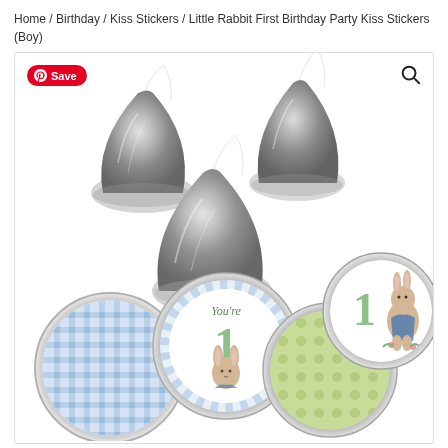Home / Birthday / Kiss Stickers / Little Rabbit First Birthday Party Kiss Stickers (Boy)
[Figure (photo): Product photo showing three silver Hershey Kiss chocolates and five round stickers with Peter Rabbit first birthday theme: blue gingham pattern, 'You're 1' with Peter Rabbit illustration, green polka dot, and two showing '1' with Peter Rabbit on white/gray backgrounds.]